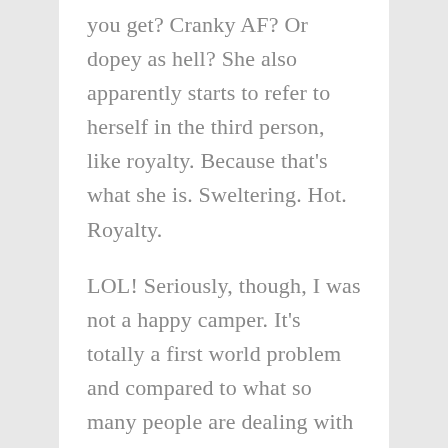you get? Cranky AF? Or dopey as hell? She also apparently starts to refer to herself in the third person, like royalty. Because that's what she is. Sweltering. Hot. Royalty.

LOL! Seriously, though, I was not a happy camper. It's totally a first world problem and compared to what so many people are dealing with incredibly petty and minor. And yet … and yet I pretty much whined constantly and accomplished nothing. Nada. Zero. Zippo. Too hot to even